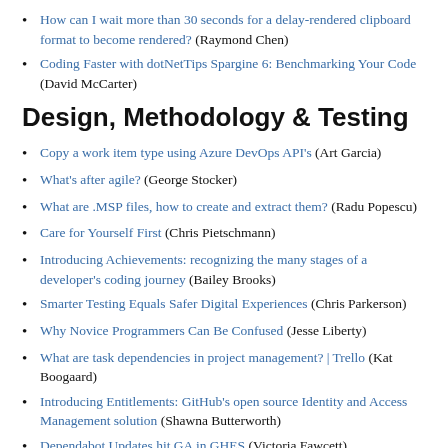How can I wait more than 30 seconds for a delay-rendered clipboard format to become rendered? (Raymond Chen)
Coding Faster with dotNetTips Spargine 6: Benchmarking Your Code (David McCarter)
Design, Methodology & Testing
Copy a work item type using Azure DevOps API's (Art Garcia)
What's after agile? (George Stocker)
What are .MSP files, how to create and extract them? (Radu Popescu)
Care for Yourself First (Chris Pietschmann)
Introducing Achievements: recognizing the many stages of a developer's coding journey (Bailey Brooks)
Smarter Testing Equals Safer Digital Experiences (Chris Parkerson)
Why Novice Programmers Can Be Confused (Jesse Liberty)
What are task dependencies in project management? | Trello (Kat Boogaard)
Introducing Entitlements: GitHub's open source Identity and Access Management solution (Shawna Butterworth)
Dependabot Updates hit GA in GHES (Victoria Fawcett)
Mobile, IoT & Game Development